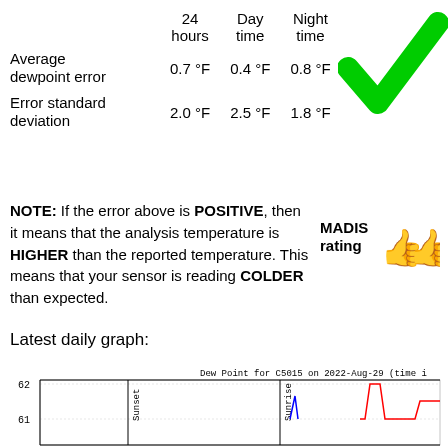|  | 24 hours | Day time | Night time |
| --- | --- | --- | --- |
| Average dewpoint error | 0.7 °F | 0.4 °F | 0.8 °F |
| Error standard deviation | 2.0 °F | 2.5 °F | 1.8 °F |
[Figure (illustration): Green checkmark icon]
NOTE: If the error above is POSITIVE, then it means that the analysis temperature is HIGHER than the reported temperature. This means that your sensor is reading COLDER than expected.
[Figure (illustration): MADIS rating — two green thumbs up icons]
Latest daily graph:
[Figure (continuous-plot): Dew Point for C5015 on 2022-Aug-29 (time i...) line chart showing dew point values around 61-62, with Sunset and Sunrise vertical markers, red and blue lines]